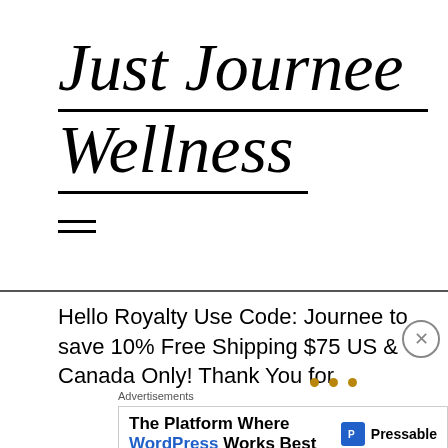Just Journee Wellness
[Figure (other): Hamburger menu icon — two horizontal lines]
Hello Royalty Use Code: Journee to save 10% Free Shipping $75 US & Canada Only! Thank You for
Advertisements
The Platform Where WordPress Works Best — Pressable